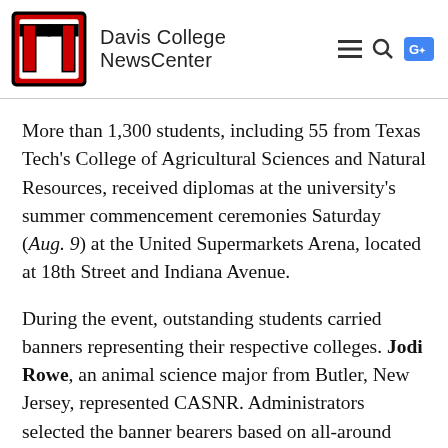Davis College NewsCenter
More than 1,300 students, including 55 from Texas Tech's College of Agricultural Sciences and Natural Resources, received diplomas at the university's summer commencement ceremonies Saturday (Aug. 9) at the United Supermarkets Arena, located at 18th Street and Indiana Avenue.
During the event, outstanding students carried banners representing their respective colleges. Jodi Rowe, an animal science major from Butler, New Jersey, represented CASNR. Administrators selected the banner bearers based on all-around achievement. Rowe was also the highest ranking